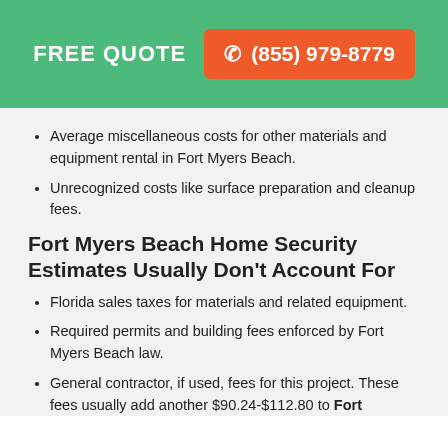FREE QUOTE  ☎ (855) 979-8779
Average miscellaneous costs for other materials and equipment rental in Fort Myers Beach.
Unrecognized costs like surface preparation and cleanup fees.
Fort Myers Beach Home Security Estimates Usually Don't Account For
Florida sales taxes for materials and related equipment.
Required permits and building fees enforced by Fort Myers Beach law.
General contractor, if used, fees for this project. These fees usually add another $90.24-$112.80 to Fort